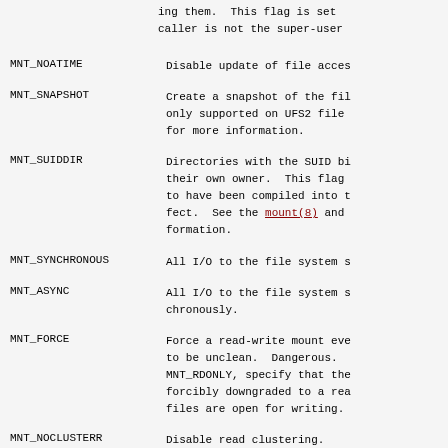ing them.  This flag is set
caller is not the super-user
MNT_NOATIME   Disable update of file acces
MNT_SNAPSHOT  Create a snapshot of the fil
only supported on UFS2 file
for more information.
MNT_SUIDDIR   Directories with the SUID bi
their own owner.  This flag
to have been compiled into t
fect.  See the mount(8) and
formation.
MNT_SYNCHRONOUS  All I/O to the file system s
MNT_ASYNC  All I/O to the file system s
chronously.
MNT_FORCE  Force a read-write mount eve
to be unclean.  Dangerous.
MNT_RDONLY, specify that the
forcibly downgraded to a rea
files are open for writing.
MNT_NOCLUSTERR  Disable read clustering.